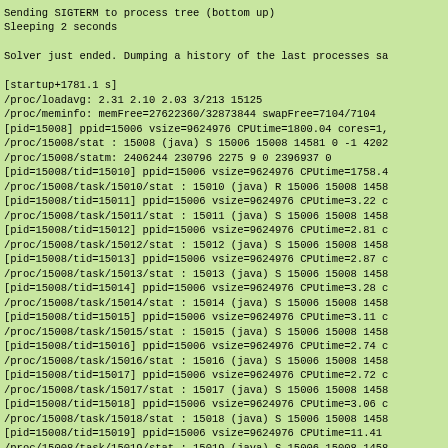Sending SIGTERM to process tree (bottom up)
Sleeping 2 seconds

Solver just ended. Dumping a history of the last processes sa

[startup+1781.1 s]
/proc/loadavg: 2.31 2.10 2.03 3/213 15125
/proc/meminfo: memFree=27622360/32873844 swapFree=7104/7104
[pid=15008] ppid=15006 vsize=9624976 CPUtime=1800.04 cores=1,
/proc/15008/stat : 15008 (java) S 15006 15008 14581 0 -1 4202
/proc/15008/statm: 2406244 230796 2275 9 0 2396937 0
[pid=15008/tid=15010] ppid=15006 vsize=9624976 CPUtime=1758.4
/proc/15008/task/15010/stat : 15010 (java) R 15006 15008 1458
[pid=15008/tid=15011] ppid=15006 vsize=9624976 CPUtime=3.22 c
/proc/15008/task/15011/stat : 15011 (java) S 15006 15008 1458
[pid=15008/tid=15012] ppid=15006 vsize=9624976 CPUtime=2.81 c
/proc/15008/task/15012/stat : 15012 (java) S 15006 15008 1458
[pid=15008/tid=15013] ppid=15006 vsize=9624976 CPUtime=2.87 c
/proc/15008/task/15013/stat : 15013 (java) S 15006 15008 1458
[pid=15008/tid=15014] ppid=15006 vsize=9624976 CPUtime=3.28 c
/proc/15008/task/15014/stat : 15014 (java) S 15006 15008 1458
[pid=15008/tid=15015] ppid=15006 vsize=9624976 CPUtime=3.11 c
/proc/15008/task/15015/stat : 15015 (java) S 15006 15008 1458
[pid=15008/tid=15016] ppid=15006 vsize=9624976 CPUtime=2.74 c
/proc/15008/task/15016/stat : 15016 (java) S 15006 15008 1458
[pid=15008/tid=15017] ppid=15006 vsize=9624976 CPUtime=2.72 c
/proc/15008/task/15017/stat : 15017 (java) S 15006 15008 1458
[pid=15008/tid=15018] ppid=15006 vsize=9624976 CPUtime=3.06 c
/proc/15008/task/15018/stat : 15018 (java) S 15006 15008 1458
[pid=15008/tid=15019] ppid=15006 vsize=9624976 CPUtime=11.41
/proc/15008/task/15019/stat : 15019 (java) S 15006 15008 1458
[pid=15008/tid=15020] ppid=15006 vsize=9624976 CPUtime=0 core